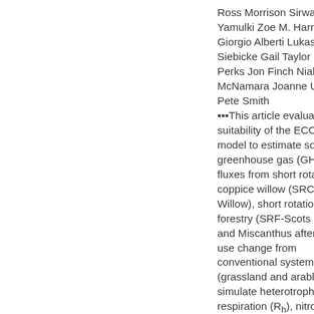Ross Morrison Sirwan Yamulki Zoe M. Harris Giorgio Alberti Lukas Siebicke Gail Taylor Mike Perks Jon Finch Niall P. McNamara Joanne U. Smith Pete Smith ▪▪▪This article evaluates the suitability of the ECOSSE model to estimate soil greenhouse gas (GHG) fluxes from short rotation coppice willow (SRC-Willow), short rotation forestry (SRF-Scots Pine) and Miscanthus after land-use change from conventional systems (grassland and arable). We simulate heterotrophic respiration (Rh), nitrous oxide (N2O) and methane (CH4) fluxes at four paired sites in the UK and compare them to estimates of Rh derived from the ecosystem respiration estimated from